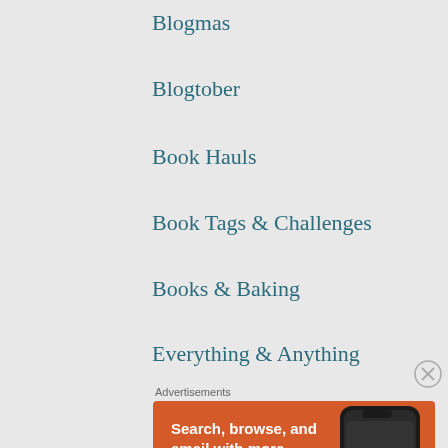Blogmas
Blogtober
Book Hauls
Book Tags & Challenges
Books & Baking
Everything & Anything
Advertisements
[Figure (screenshot): DuckDuckGo advertisement banner on orange background reading 'Search, browse, and email with more privacy. All in One Free App' with a phone mockup and DuckDuckGo logo]